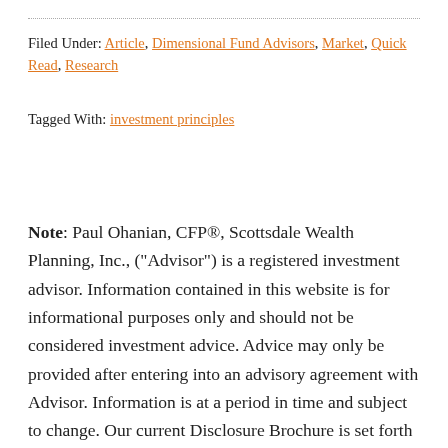Filed Under: Article, Dimensional Fund Advisors, Market, Quick Read, Research
Tagged With: investment principles
Note: Paul Ohanian, CFP®, Scottsdale Wealth Planning, Inc., ("Advisor") is a registered investment advisor. Information contained in this website is for informational purposes only and should not be considered investment advice. Advice may only be provided after entering into an advisory agreement with Advisor. Information is at a period in time and subject to change. Our current Disclosure Brochure is set forth